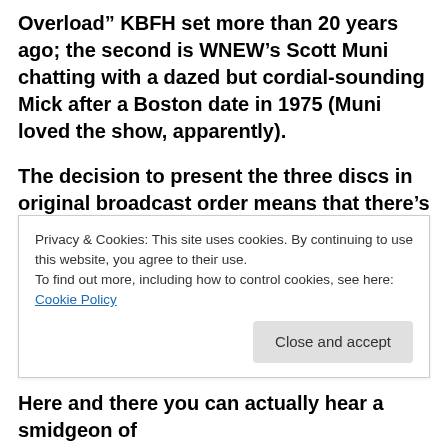Overload” KBFH set more than 20 years ago; the second is WNEW’s Scott Muni chatting with a dazed but cordial-sounding Mick after a Boston date in 1975 (Muni loved the show, apparently).
The decision to present the three discs in original broadcast order means that there’s some overlap and redundancy of tracks between the programs that aired (for example, “Brown Sugar,” which opens Disc 1, is the same Oct. 17 Brussels version that’s placed third in the radio program set list on Disc 2). A bit more
Privacy & Cookies: This site uses cookies. By continuing to use this website, you agree to their use.
To find out more, including how to control cookies, see here: Cookie Policy
Here and there you can actually hear a smidgeon of